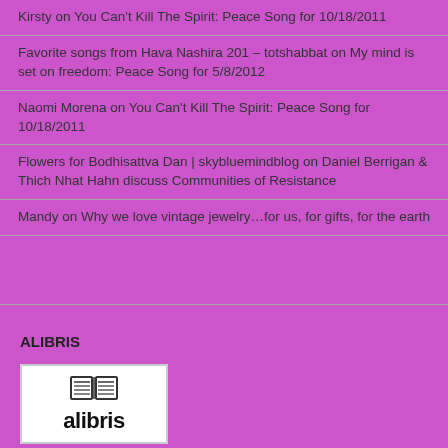Kirsty on You Can't Kill The Spirit: Peace Song for 10/18/2011
Favorite songs from Hava Nashira 201 – totshabbat on My mind is set on freedom: Peace Song for 5/8/2012
Naomi Morena on You Can't Kill The Spirit: Peace Song for 10/18/2011
Flowers for Bodhisattva Dan | skybluemindblog on Daniel Berrigan & Thich Nhat Hahn discuss Communities of Resistance
Mandy on Why we love vintage jewelry...for us, for gifts, for the earth
ALIBRIS
[Figure (logo): Alibris logo: open book icon above the word 'alibris' in bold black text on white background]